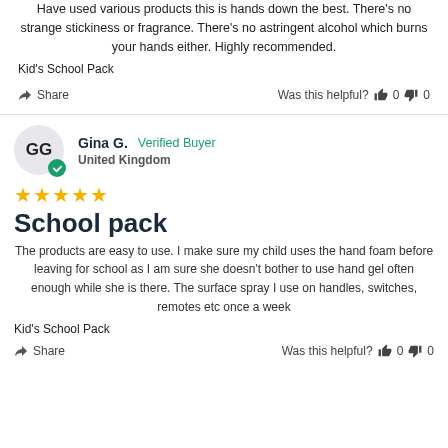Have used various products this is hands down the best. There's no strange stickiness or fragrance. There's no astringent alcohol which burns your hands either. Highly recommended.
Kid's School Pack
Share   Was this helpful?  0  0
Gina G.   Verified Buyer   United Kingdom
★★★★★
School pack
The products are easy to use. I make sure my child uses the hand foam before leaving for school as I am sure she doesn't bother to use hand gel often enough while she is there. The surface spray I use on handles, switches, remotes etc once a week
Kid's School Pack
Share   Was this helpful?  0  0